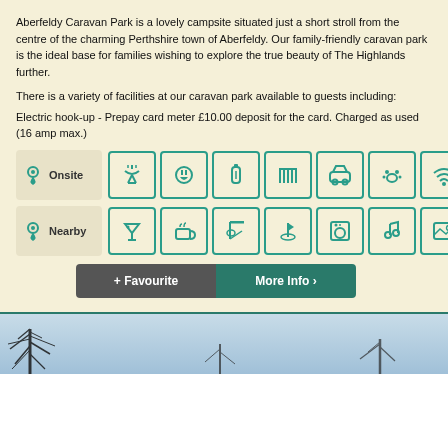Aberfeldy Caravan Park is a lovely campsite situated just a short stroll from the centre of the charming Perthshire town of Aberfeldy. Our family-friendly caravan park is the ideal base for families wishing to explore the true beauty of The Highlands further.
There is a variety of facilities at our caravan park available to guests including:
Electric hook-up - Prepay card meter £10.00 deposit for the card. Charged as used (16 amp max.)
[Figure (infographic): Facilities icons grid: Onsite row with icons for BBQ/grill, electric hookup, water, toilet block, parking, pets, wifi. Nearby row with icons for bar/drinks, cafe, laundry/fishing, golf, washing machine, music/entertainment, scenic/nature, shopping basket.]
[Figure (infographic): Two buttons: '+ Favourite' (dark grey) and 'More Info >' (dark teal/green)]
[Figure (photo): Winter landscape photo showing bare trees against a light blue sky, taken at a caravan park.]